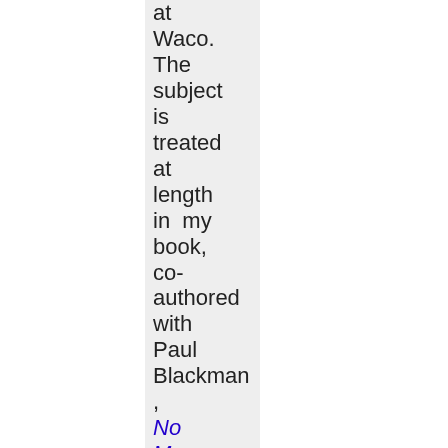at Waco. The subject is treated at length in my book, co-authored with Paul Blackman, No More Wacos: What's Wrong with Federal Law